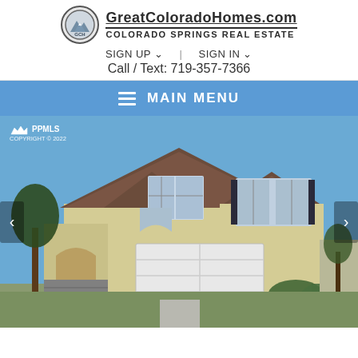GreatColoradoHomes.com — COLORADO SPRINGS REAL ESTATE
SIGN UP ∨ | SIGN IN ∨
Call / Text: 719-357-7366
≡ MAIN MENU
[Figure (photo): Exterior photo of a two-story stucco home in Colorado Springs with a two-car garage, arched entry, brown roof, and landscaping. PPMLS COPYRIGHT © 2022 watermark in top left.]